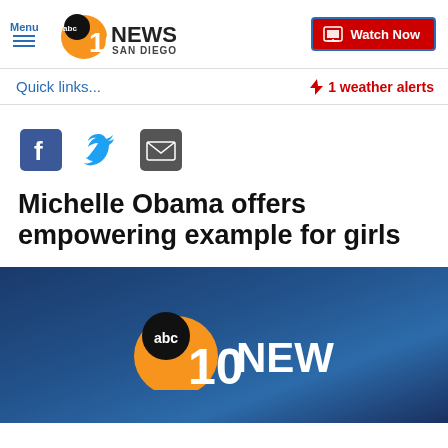[Figure (logo): ABC 10News San Diego logo with menu button and Watch Now button in header]
Quick links...
⚡ 1 weather alerts
[Figure (infographic): Facebook, Twitter, and email share icons]
Michelle Obama offers empowering example for girls
[Figure (screenshot): ABC 10News San Diego logo on dark blue background, video thumbnail]